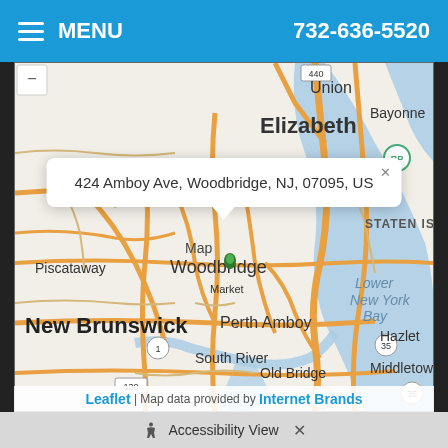MENU   732-636-5520
[Figure (map): Street map centered on Woodbridge, NJ area showing surrounding towns: Union, Elizabeth, Bayonne, Staten Island, Piscataway, Perth Amboy, New Brunswick, South River, Old Bridge, Hazlet, Middletown, Lower New York Bay. Major roads shown in orange/tan. Blue water areas visible on the right.]
424 Amboy Ave, Woodbridge, NJ, 07095, US
Leaflet | Map data provided by Internet Brands
Accessibility View